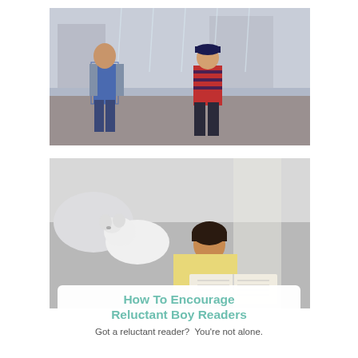[Figure (photo): Two boys playing energetically outdoors near a fountain. One wears a blue vest over a gray long-sleeve shirt and jeans; the other wears a red striped sweater with number 8 and dark pants and a cap. They appear to be playing or dancing.]
[Figure (photo): A child lying on a couch or bed reading an open book, accompanied by a small white fluffy dog. The child wears a light yellow top. Soft natural light fills the scene.]
How To Encourage Reluctant Boy Readers
Got a reluctant reader?  You're not alone.